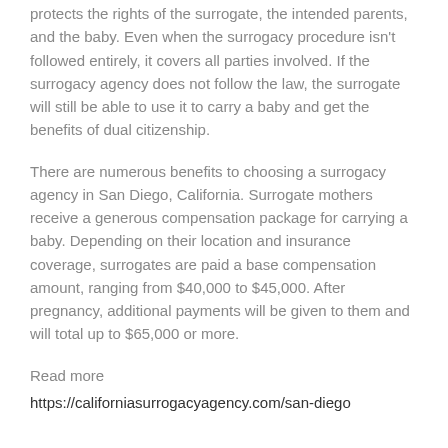protects the rights of the surrogate, the intended parents, and the baby. Even when the surrogacy procedure isn't followed entirely, it covers all parties involved. If the surrogacy agency does not follow the law, the surrogate will still be able to use it to carry a baby and get the benefits of dual citizenship.
There are numerous benefits to choosing a surrogacy agency in San Diego, California. Surrogate mothers receive a generous compensation package for carrying a baby. Depending on their location and insurance coverage, surrogates are paid a base compensation amount, ranging from $40,000 to $45,000. After pregnancy, additional payments will be given to them and will total up to $65,000 or more.
Read more
https://californiasurrogacyagency.com/san-diego